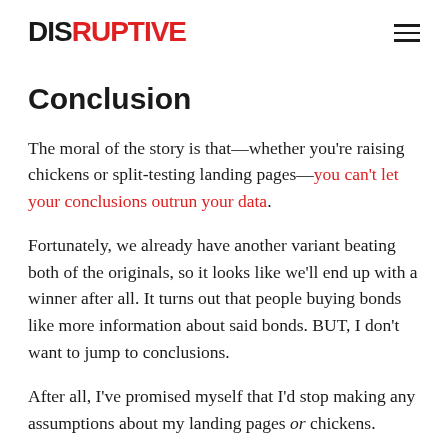DISRUPTIVE
Conclusion
The moral of the story is that—whether you're raising chickens or split-testing landing pages—you can't let your conclusions outrun your data.
Fortunately, we already have another variant beating both of the originals, so it looks like we'll end up with a winner after all. It turns out that people buying bonds like more information about said bonds. BUT, I don't want to jump to conclusions.
After all, I've promised myself that I'd stop making any assumptions about my landing pages or chickens.
Ever find yourself in a similar situation? What did you